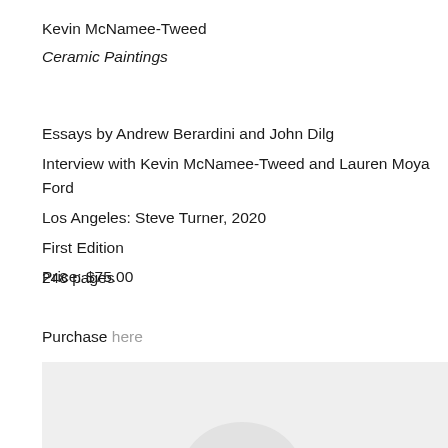Kevin McNamee-Tweed
Ceramic Paintings
Essays by Andrew Berardini and John Dilg
Interview with Kevin McNamee-Tweed and Lauren Moya Ford
Los Angeles: Steve Turner, 2020
First Edition
248 pages
Price: $75.00
Purchase here
[Figure (photo): Partial view of a book or ceramic artwork image, light gray background]